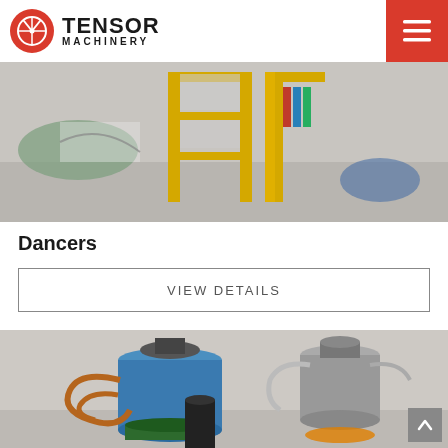Tensor Machinery
[Figure (photo): Industrial machinery product photo showing a yellow metal cage/rack structure on a factory floor]
Dancers
VIEW DETAILS
[Figure (photo): Industrial machinery components including blue cylindrical tanks, copper tubing, and metallic containers on a factory floor]